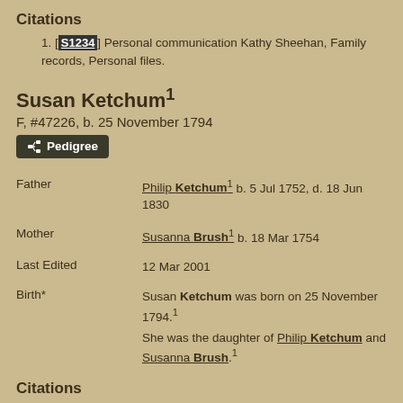Citations
[S1234] Personal communication Kathy Sheehan, Family records, Personal files.
Susan Ketchum¹
F, #47226, b. 25 November 1794
Pedigree
Father    Philip Ketchum¹ b. 5 Jul 1752, d. 18 Jun 1830
Mother    Susanna Brush¹ b. 18 Mar 1754
Last Edited    12 Mar 2001
Birth*    Susan Ketchum was born on 25 November 1794.¹ She was the daughter of Philip Ketchum and Susanna Brush.¹
Citations